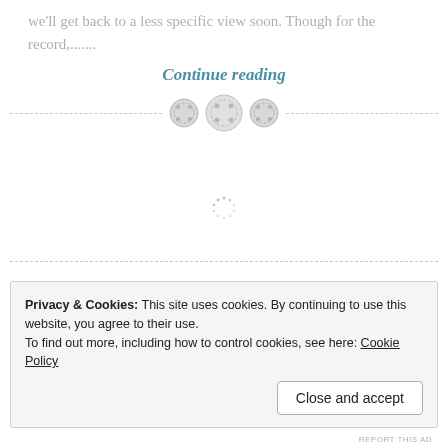we'll get back to a less specific view soon. Though for the record,.......
Continue reading
[Figure (illustration): Three button icons arranged in a row on a dashed horizontal divider line]
[Figure (illustration): A loading spinner icon centered on the page]
Privacy & Cookies: This site uses cookies. By continuing to use this website, you agree to their use.
To find out more, including how to control cookies, see here: Cookie Policy
Close and accept
REPORT THIS AD